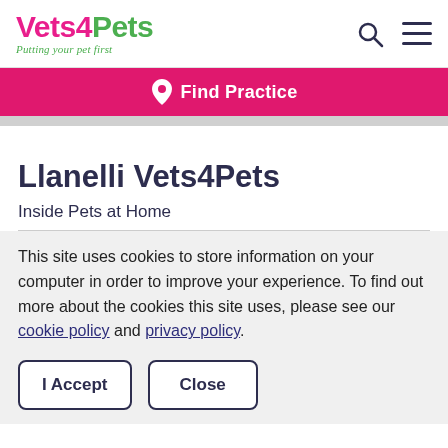Vets4Pets – Putting your pet first
[Figure (logo): Vets4Pets logo with tagline 'Putting your pet first' and search/menu icons]
Find Practice
Llanelli Vets4Pets
Inside Pets at Home
This site uses cookies to store information on your computer in order to improve your experience. To find out more about the cookies this site uses, please see our cookie policy and privacy policy.
I Accept
Close